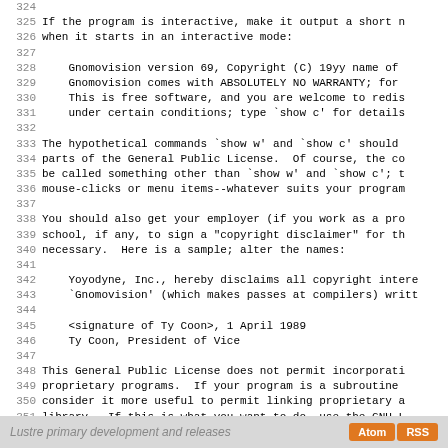324
325 If the program is interactive, make it output a short n
326 when it starts in an interactive mode:
327
328     Gnomovision version 69, Copyright (C) 19yy name of
329     Gnomovision comes with ABSOLUTELY NO WARRANTY; for
330     This is free software, and you are welcome to redis
331     under certain conditions; type `show c' for details
332
333 The hypothetical commands `show w' and `show c' should
334 parts of the General Public License.  Of course, the co
335 be called something other than `show w' and `show c'; t
336 mouse-clicks or menu items--whatever suits your program
337
338 You should also get your employer (if you work as a pro
339 school, if any, to sign a "copyright disclaimer" for th
340 necessary.  Here is a sample; alter the names:
341
342     Yoyodyne, Inc., hereby disclaims all copyright intere
343     `Gnomovision' (which makes passes at compilers) writt
344
345     <signature of Ty Coon>, 1 April 1989
346     Ty Coon, President of Vice
347
348 This General Public License does not permit incorporati
349 proprietary programs.  If your program is a subroutine
350 consider it more useful to permit linking proprietary a
351 library.  If this is what you want to do, use the GNU L
352 Public License instead of this License.
Lustre primary development and releases